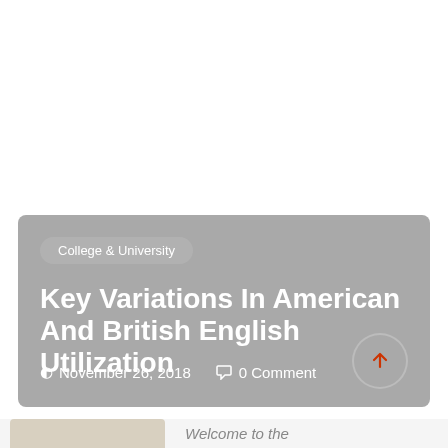College & University
Key Variations In American And British English Utilization
November 26, 2018   0 Comment
Welcome to the